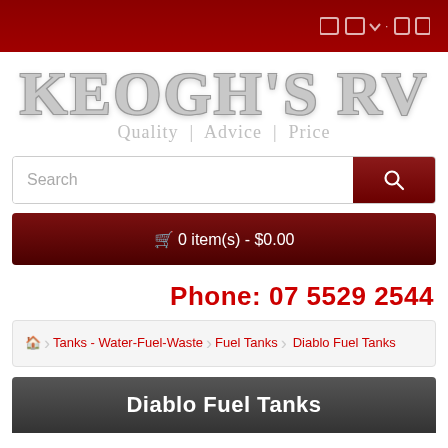Keogh's RV - top navigation bar
[Figure (logo): KEOGH'S RV logo with tagline Quality | Advice | Price in grey serif font]
Search
0 item(s) - $0.00
Phone: 07 5529 2544
Home > Tanks - Water-Fuel-Waste > Fuel Tanks > Diablo Fuel Tanks
Diablo Fuel Tanks